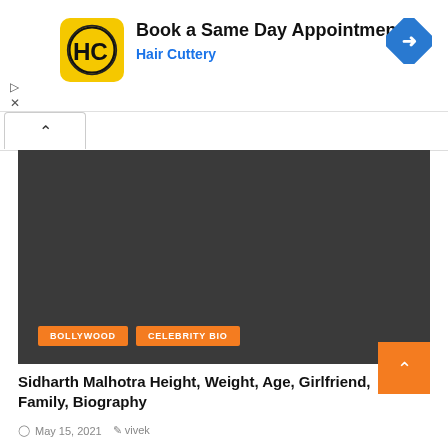[Figure (screenshot): Advertisement banner for Hair Cuttery showing logo, 'Book a Same Day Appointment' heading, 'Hair Cuttery' subtitle in blue, and a navigation arrow icon.]
[Figure (photo): Dark gray rectangular image area, likely a thumbnail image for the article about Sidharth Malhotra. Contains two orange tag labels: BOLLYWOOD and CELEBRITY BIO.]
Sidharth Malhotra Height, Weight, Age, Girlfriend, Family, Biography
May 15, 2021   vivek